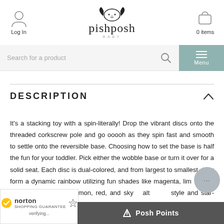pishposh BABY - Log In - 0 items
Search for a product
DESCRIPTION
It's a stacking toy with a spin-literally! Drop the vibrant discs onto the threaded corkscrew pole and go ooooh as they spin fast and smooth to settle onto the reversible base. Choosing how to set the base is half the fun for your toddler. Pick either the wobble base or turn it over for a solid seat. Each disc is dual-colored, and from largest to smallest, they form a dynamic rainbow utilizing fun shades like magenta, lime, more traditional shades of lemon, red, and sky... alt... style and star-burst shapes, keep all the round-edged shapes